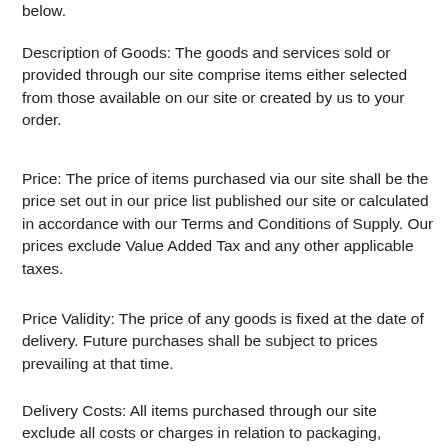below.
Description of Goods: The goods and services sold or provided through our site comprise items either selected from those available on our site or created by us to your order.
Price: The price of items purchased via our site shall be the price set out in our price list published our site or calculated in accordance with our Terms and Conditions of Supply. Our prices exclude Value Added Tax and any other applicable taxes.
Price Validity: The price of any goods is fixed at the date of delivery. Future purchases shall be subject to prices prevailing at that time.
Delivery Costs: All items purchased through our site exclude all costs or charges in relation to packaging, loading, unloading, carriage and insurance. Those additional